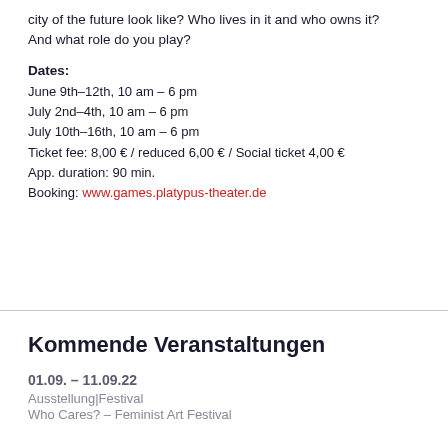city of the future look like? Who lives in it and who owns it? And what role do you play?
Dates:
June 9th–12th, 10 am – 6 pm
July 2nd–4th, 10 am – 6 pm
July 10th–16th, 10 am – 6 pm
Ticket fee: 8,00 € / reduced 6,00 € / Social ticket 4,00 €
App. duration: 90 min.
Booking: www.games.platypus-theater.de
Kommende Veranstaltungen
01.09. – 11.09.22
Ausstellung|Festival
Who Cares? – Feminist Art Festival